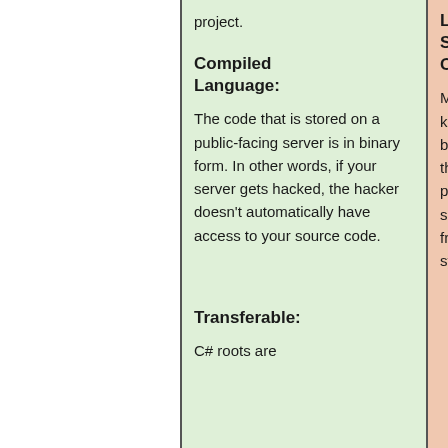project.
Compiled Language:
The code that is stored on a public-facing server is in binary form. In other words, if your server gets hacked, the hacker doesn't automatically have access to your source code.
Transferable:
C# roots are
Lack of Support for Older .NET:
Many enterprise organizations keep older operating systems because of the many problems that an upgrade can bring to the platform. Microsoft stops supporting older .NET frameworks after a few operating systems